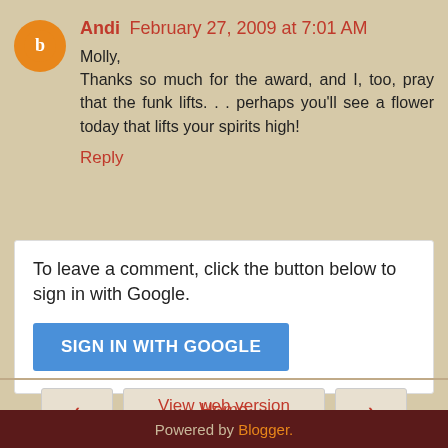Andi  February 27, 2009 at 7:01 AM
Molly,
Thanks so much for the award, and I, too, pray that the funk lifts. . . perhaps you'll see a flower today that lifts your spirits high!
Reply
To leave a comment, click the button below to sign in with Google.
SIGN IN WITH GOOGLE
< Home >
View web version
Powered by Blogger.